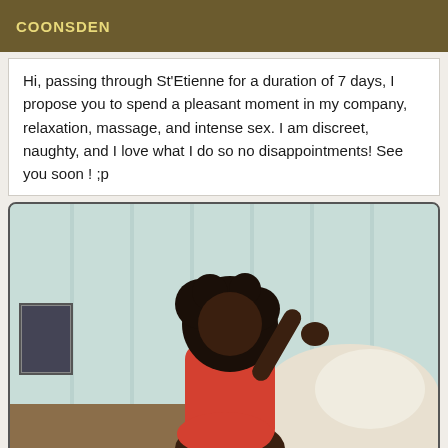COONSDEN
Hi, passing through St'Etienne for a duration of 7 days, I propose you to spend a pleasant moment in my company, relaxation, massage, and intense sex. I am discreet, naughty, and I love what I do so no disappointments! See you soon ! ;p
[Figure (photo): A woman in a red outfit posed near a white sofa against a white paneled wall background.]